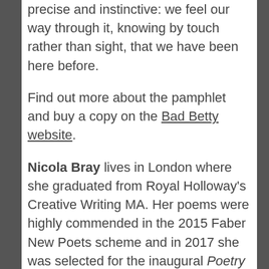precise and instinctive: we feel our way through it, knowing by touch rather than sight, that we have been here before.
Find out more about the pamphlet and buy a copy on the Bad Betty website.
Nicola Bray lives in London where she graduated from Royal Holloway’s Creative Writing MA. Her poems were highly commended in the 2015 Faber New Poets scheme and in 2017 she was selected for the inaugural Poetry London mentoring scheme. Boi (Bad Betty Press) is her debut pamphlet.
Bad Betty Press is an independent publisher of new poetry, born in 2017 and run by Amy Acre and Jake Wild Hall. Our authors include Gboyega Odubanjo,